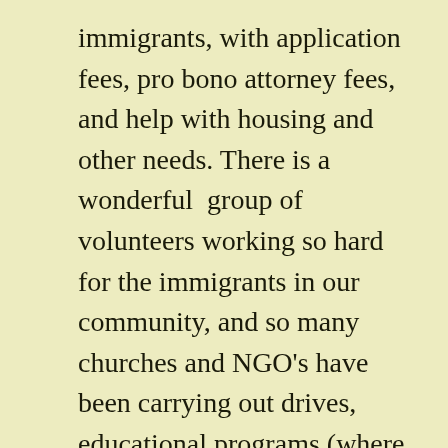immigrants, with application fees, pro bono attorney fees, and help with housing and other needs. There is a wonderful  group of volunteers working so hard for the immigrants in our community, and so many churches and NGO's have been carrying out drives, educational programs (where we have helped a bit with speakers and informational materials.) But to help financially, which of course is necessary for the newcomers, we are grateful to Malcom Abrams of Bloom Magazine for his gala fundraiser, and we also are grateful to Donald Van Arnem and the foundation, Secretly Group. They have made it possible for us to help others.